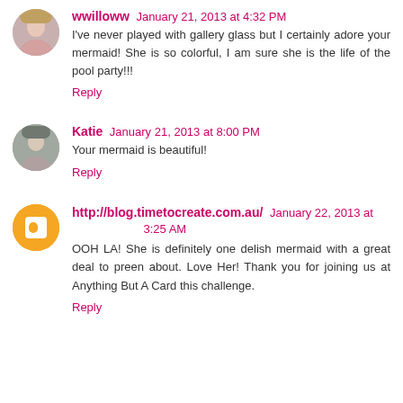wwilloww January 21, 2013 at 4:32 PM
I've never played with gallery glass but I certainly adore your mermaid! She is so colorful, I am sure she is the life of the pool party!!!
Reply
Katie January 21, 2013 at 8:00 PM
Your mermaid is beautiful!
Reply
http://blog.timetocreate.com.au/ January 22, 2013 at 3:25 AM
OOH LA! She is definitely one delish mermaid with a great deal to preen about. Love Her! Thank you for joining us at Anything But A Card this challenge.
Reply